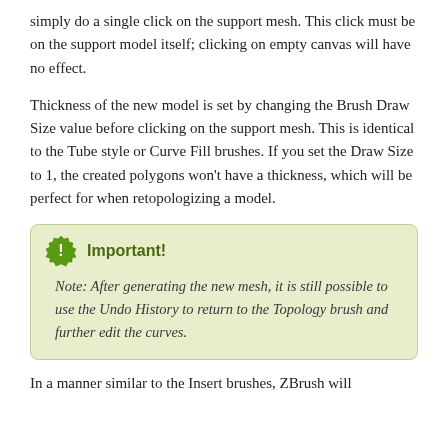simply do a single click on the support mesh. This click must be on the support model itself; clicking on empty canvas will have no effect.
Thickness of the new model is set by changing the Brush Draw Size value before clicking on the support mesh. This is identical to the Tube style or Curve Fill brushes. If you set the Draw Size to 1, the created polygons won't have a thickness, which will be perfect for when retopologizing a model.
Important!
Note: After generating the new mesh, it is still possible to use the Undo History to return to the Topology brush and further edit the curves.
In a manner similar to the Insert brushes, ZBrush will